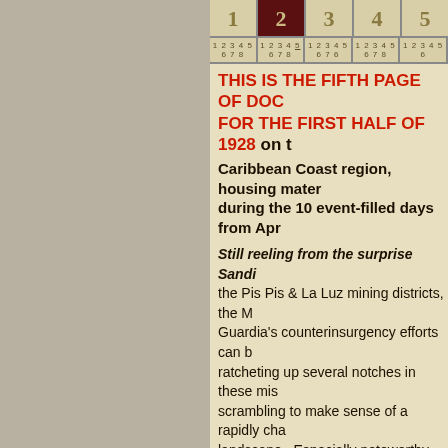Navigation tabs: 1, 2 (active), 3, 4, 5 with sub-page numbers
THIS IS THE FIFTH PAGE OF DOC... FOR THE FIRST HALF OF 1928 on ... Caribbean Coast region, housing mater... during the 10 event-filled days from Apr...
Still reeling from the surprise Sandi... the Pis Pis & La Luz mining districts, the M... Guardia's counterinsurgency efforts can b... ratcheting up several notches in these mis... scrambling to make sense of a rapidly cha... landscape.  Especially noteworthy are Maj... page Weekly Report of Events of 29 April,... detailed chronology of the Guardia's milita... the EDSN assault, and Eastern Area Intell... Lt. W. C. Hall's 6-page Weekly Report of E... which carries the story forward another we...